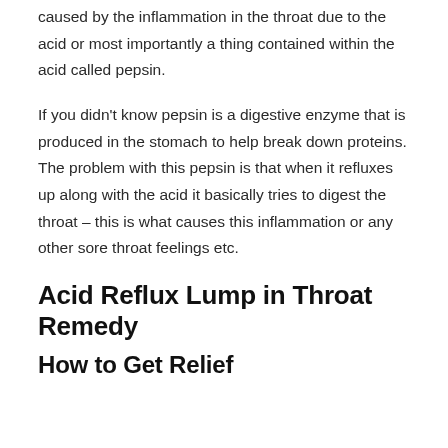caused by the inflammation in the throat due to the acid or most importantly a thing contained within the acid called pepsin.
If you didn't know pepsin is a digestive enzyme that is produced in the stomach to help break down proteins. The problem with this pepsin is that when it refluxes up along with the acid it basically tries to digest the throat – this is what causes this inflammation or any other sore throat feelings etc.
Acid Reflux Lump in Throat Remedy
How to Get Relief